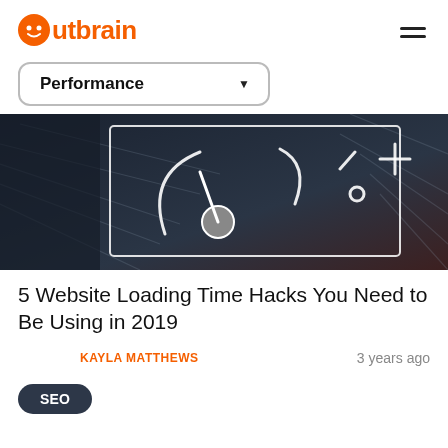Outbrain
Performance
[Figure (illustration): Dark background image showing a speedometer/gauge icon with white line art and a circular pointer, plus additional icons (slash, circle, plus) to the right, representing website loading speed.]
5 Website Loading Time Hacks You Need to Be Using in 2019
KAYLA MATTHEWS
3 years ago
SEO